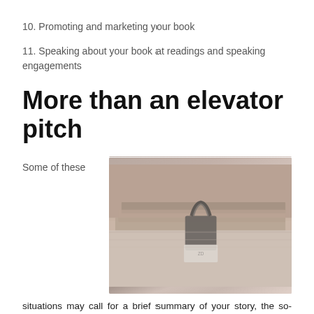10. Promoting and marketing your book
11. Speaking about your book at readings and speaking engagements
More than an elevator pitch
Some of these
[Figure (photo): A close-up photograph of books or papers held together with a binder clip, with a warm muted brown/grey toned background]
situations may call for a brief summary of your story, the so-called elevator pitch. More often, however, you'll be